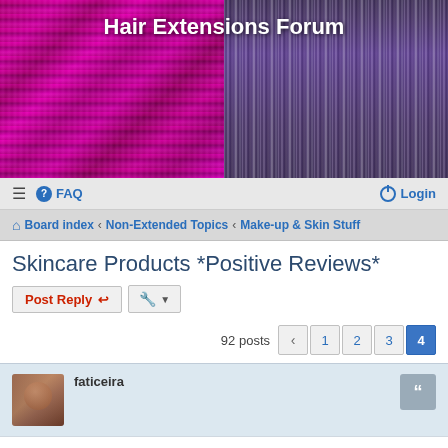[Figure (photo): Split image: left half shows pink/magenta braided or textured hair extensions; right half shows straight purple/gray hair extensions fanned out. Forum banner image.]
Hair Extensions Forum
≡  FAQ    Login
Board index  ‹  Non-Extended Topics  ‹  Make-up & Skin Stuff
Skincare Products *Positive Reviews*
Post Reply   [tools]
92 posts  ‹  1  2  3  4
faticeira
Re: Skincare Products *Positive Reviews*